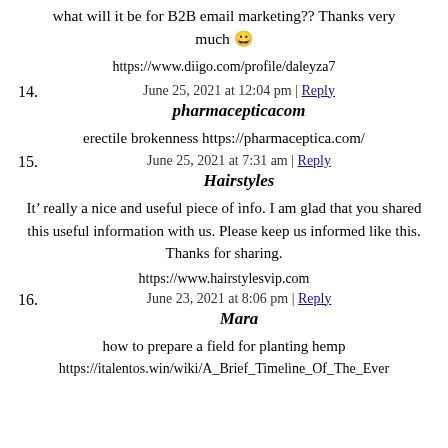what will it be for B2B email marketing?? Thanks very much 😀
https://www.diigo.com/profile/daleyza7
June 25, 2021 at 12:04 pm | Reply
14. pharmacepticacom
erectile brokenness https://pharmaceptica.com/
June 25, 2021 at 7:31 am | Reply
15. Hairstyles
It’s really a nice and useful piece of info. I am glad that you shared this useful information with us. Please keep us informed like this. Thanks for sharing.
https://www.hairstylesvip.com
June 23, 2021 at 8:06 pm | Reply
16. Mara
how to prepare a field for planting hemp
https://italentos.win/wiki/A_Brief_Timeline_Of_The_Ever